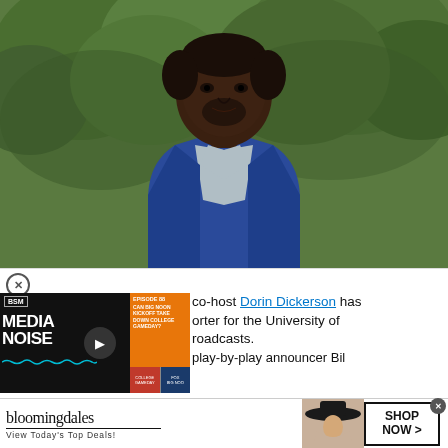[Figure (photo): Headshot portrait of a Black man in a blue blazer and light grey shirt, looking directly at camera, green trees in background]
[Figure (screenshot): BSM Media Noise podcast widget showing Episode 88, with orange panel listing 'CAN BIG NOON KICKOFF TAKE DOWN COLLEGE GAMEDAY?' and College GameDay vs FOX Big Noon logos at bottom]
co-host Dorin Dickerson has porter for the University of roadcasts. play-by-play announcer Bil
[Figure (screenshot): Bloomingdales advertisement: bloomingdales logo, 'View Today's Top Deals!', woman in wide brim hat, SHOP NOW > button]